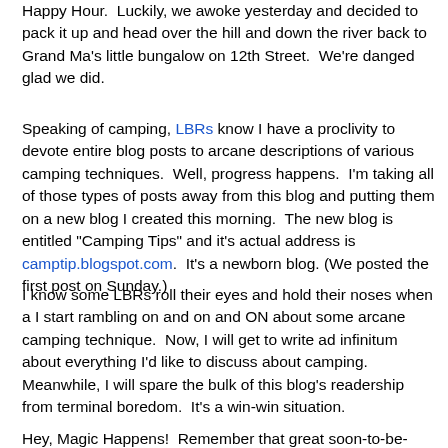Happy Hour.  Luckily, we awoke yesterday and decided to pack it up and head over the hill and down the river back to Grand Ma's little bungalow on 12th Street.  We're danged glad we did.
Speaking of camping, LBRs know I have a proclivity to devote entire blog posts to arcane descriptions of various camping techniques.  Well, progress happens.  I'm taking all of those types of posts away from this blog and putting them on a new blog I created this morning.  The new blog is entitled "Camping Tips" and it's actual address is camptip.blogspot.com.  It's a newborn blog. (We posted the first post on Sunday.)
I know some LBRs roll their eyes and hold their noses when a I start rambling on and on and ON about some arcane camping technique.  Now, I will get to write ad infinitum about everything I'd like to discuss about camping.  Meanwhile, I will spare the bulk of this blog's readership from terminal boredom.  It's a win-win situation.
Hey, Magic Happens!  Remember that great soon-to-be-